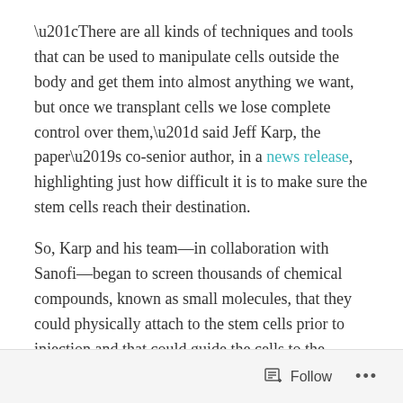“There are all kinds of techniques and tools that can be used to manipulate cells outside the body and get them into almost anything we want, but once we transplant cells we lose complete control over them,” said Jeff Karp, the paper’s co-senior author, in a news release, highlighting just how difficult it is to make sure the stem cells reach their destination.
So, Karp and his team—in collaboration with Sanofi—began to screen thousands of chemical compounds, known as small molecules, that they could physically attach to the stem cells prior to injection and that could guide the cells to the appropriate site of damage. Not unlike a molecular ‘GPS.’
Follow ...